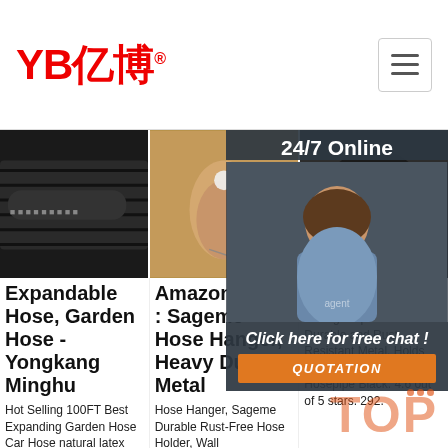YB亿博® [logo] + hamburger menu
[Figure (photo): Three product images: black expandable hose closeup, hand holding a thin wire/hose, and a dark hose reel]
[Figure (photo): 24/7 Online customer service agent overlay with chat and quotation button]
Expandable Hose, Garden Hose - Yongkang Minghu
Hot Selling 100FT Best Expanding Garden Hose Car Hose natural latex garden hose 3 time telescopic. $2.50 Piece. 1000 Pieces (Min. Order) Innovative products
Amazon.Com : Sageme Hose Hanger, Heavy Duty Metal
Hose Hanger, Sageme Durable Rust-Free Hose Holder, Wall Mount,Carrier, Hook for Garden Hose/Expandable Hose/Hose Reel/Water Hose/Pocket Hose/Flexable
An... Ho...
Urb... Hos... Han... Wa... Hoo... Bra... Storage Pipe with Durable and Rust Resistant Metal, Holds 125 Feet of 5/8-Inch Hosepipe Black. 4.6 out of 5 stars. 292.